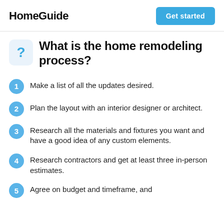HomeGuide   Get started
What is the home remodeling process?
Make a list of all the updates desired.
Plan the layout with an interior designer or architect.
Research all the materials and fixtures you want and have a good idea of any custom elements.
Research contractors and get at least three in-person estimates.
Agree on budget and timeframe, and